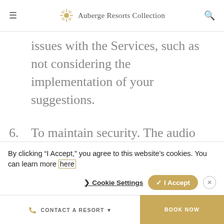Auberge Resorts Collection
issues with the Services, such as not considering the implementation of your suggestions.
6. To maintain security. The audio and visual images are also collected from cameras installed in public areas at AR and in ARC Properties. At AR and in some ARC
By clicking “I Accept,” you agree to this website’s cookies. You can learn more here
Cookie Settings ✓ I Accept